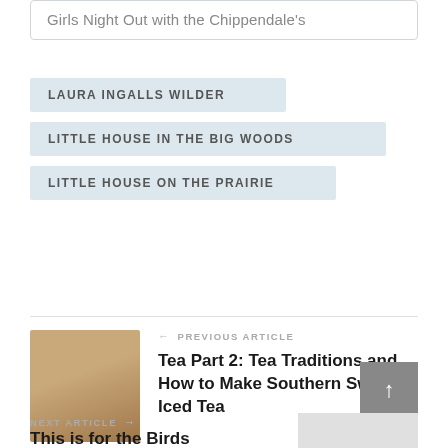Girls Night Out with the Chippendale's
LAURA INGALLS WILDER
LITTLE HOUSE IN THE BIG WOODS
LITTLE HOUSE ON THE PRAIRIE
PREVIOUS ARTICLE
Tea Part 2: Tea Traditions and How to Make Southern Sweet Iced Tea
NEXT ARTICLE
This is for the Birds